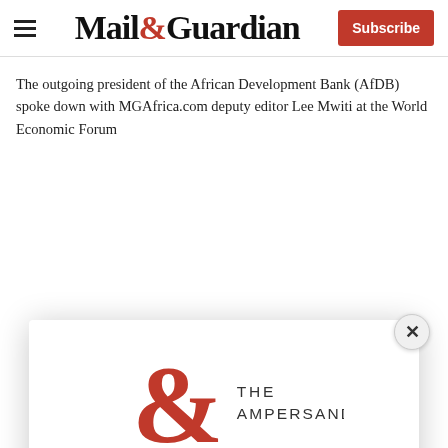Mail&Guardian | Subscribe
The outgoing president of the African Development Bank (AfDB) spoke down with MGAfrica.com deputy editor Lee Mwiti at the World Economic Forum
[Figure (logo): The Ampersand newsletter logo – large red ampersand with THE AMPERSAND text]
Stay informed. Every weekday.
E-mail Address
Signup now